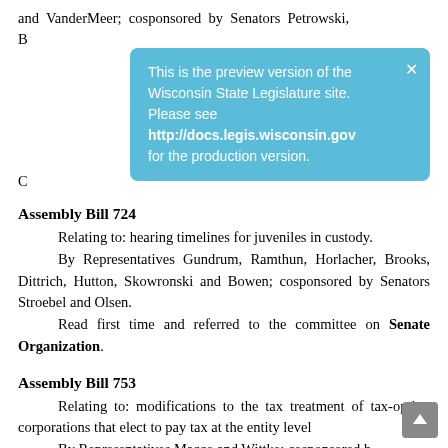and VanderMeer; cosponsored by Senators Petrowski, B[...] C[...]
This is the preview version of the Wisconsin State Legislature site. Please see http://docs.legis.wisconsin.gov for the production version.
Assembly Bill 724
Relating to: hearing timelines for juveniles in custody.
By Representatives Gundrum, Ramthun, Horlacher, Brooks, Dittrich, Hutton, Skowronski and Bowen; cosponsored by Senators Stroebel and Olsen.
Read first time and referred to the committee on Senate Organization.
Assembly Bill 753
Relating to: modifications to the tax treatment of tax-option corporations that elect to pay tax at the entity level
By Representatives Macco and Wittke; cosponsored by